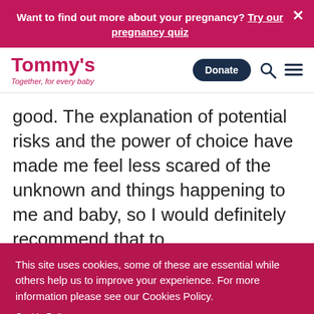Want to find out more about your pregnancy? Try our pregnancy quiz ×
[Figure (logo): Tommy's logo with tagline 'Together, for every baby' and navigation bar with Donate button, search icon, and menu icon]
good. The explanation of potential risks and the power of choice have made me feel less scared of the unknown and things happening to me and baby, so I would definitely recommend that to
This site uses cookies, some of these are essential while others help us to improve your experience. For more information please see our Cookies Policy.
Cookie Policy
SETTINGS
ACCEPT ALL